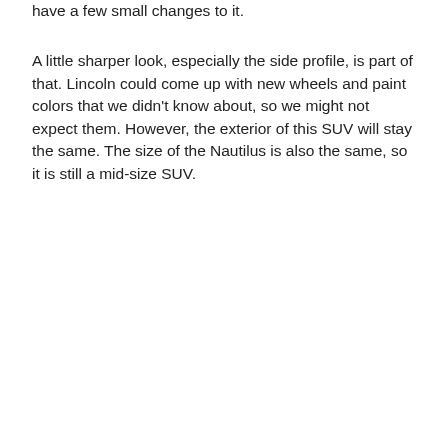have a few small changes to it.
A little sharper look, especially the side profile, is part of that. Lincoln could come up with new wheels and paint colors that we didn't know about, so we might not expect them. However, the exterior of this SUV will stay the same. The size of the Nautilus is also the same, so it is still a mid-size SUV.